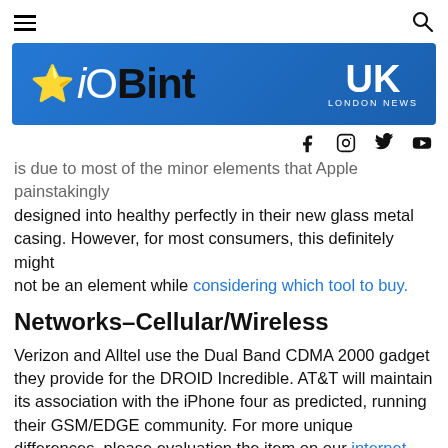iOBint UK London News
[Figure (logo): iOBint UK London News banner logo on blue gradient background with star icon]
is due to most of the minor elements that Apple painstakingly designed into healthy perfectly in their new glass metal casing. However, for most consumers, this definitely might not be an element while considering which tool to buy.
Networks–Cellular/Wireless
Verizon and Alltel use the Dual Band CDMA 2000 gadget they provide for the DROID Incredible. AT&T will maintain its association with the iPhone four as predicted, running their GSM/EDGE community. For more unique differences, please evaluation the item on our internet site evaluating AT&T's